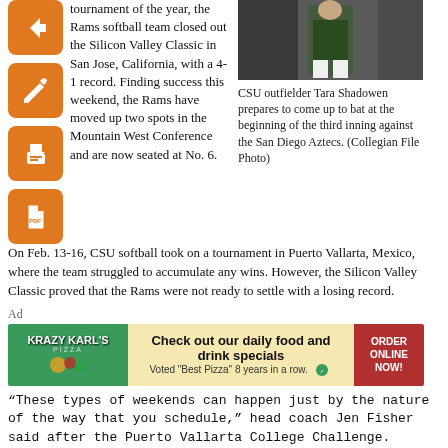tournament of the year, the Rams softball team closed out the Silicon Valley Classic in San Jose, California, with a 4-1 record. Finding success this weekend, the Rams have moved up two spots in the Mountain West Conference and are now seated at No. 6.
[Figure (photo): CSU outfielder Tara Shadowen preparing to bat]
CSU outfielder Tara Shadowen prepares to come up to bat at the beginning of the third inning against the San Diego Aztecs. (Collegian File Photo)
On Feb. 13-16, CSU softball took on a tournament in Puerto Vallarta, Mexico, where the team struggled to accumulate any wins. However, the Silicon Valley Classic proved that the Rams were not ready to settle with a losing record.
Ad
[Figure (other): Krazy Karl's Pizza advertisement banner: Check out our daily food and drink specials. Voted "Best Pizza" 8 years in a row. Order Online Now!]
“These types of weekends can happen just by the nature of the way that you schedule,” head coach Jen Fisher said after the Puerto Vallarta College Challenge. “There’s really nothing you can do about it. We have a couple more weekends and opportunities, and I think we’re ready to take them.”